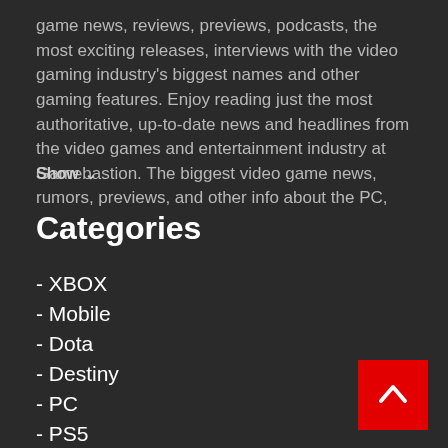game news, reviews, previews, podcasts, the most exciting releases, interviews with the video gaming industry's biggest names and other gaming features. Enjoy reading just the most authoritative, up-to-date news and headlines from the video games and entertainment industry at Gamebastion. The biggest video game news, rumors, previews, and other info about the PC,
Show
Categories
- XBOX
- Mobile
- Dota
- Destiny
- PC
- PS5
- RPG
- Strategy
- Xbox One
- Top Topics
- All persons